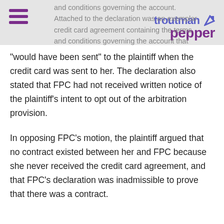and conditions governing the account. Attached to the declaration was an exemplar credit card agreement containing the terms and conditions governing the account that
[Figure (logo): Troutman Pepper law firm logo with hamburger menu icon]
“would have been sent” to the plaintiff when the credit card was sent to her. The declaration also stated that FPC had not received written notice of the plaintiff’s intent to opt out of the arbitration provision.
In opposing FPC’s motion, the plaintiff argued that no contract existed between her and FPC because she never received the credit card agreement, and that FPC’s declaration was inadmissible to prove that there was a contract.